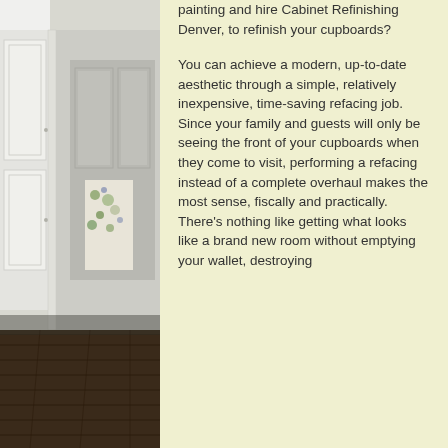[Figure (photo): Photo of a bright kitchen/hallway interior showing white cabinets with panel detail, dark hardwood floors, and a floral apron hanging on a door. The space appears clean and modern.]
...professional cabinet painting and hire Cabinet Refinishing Denver, to refinish your cupboards? You can achieve a modern, up-to-date aesthetic through a simple, relatively inexpensive, time-saving refacing job. Since your family and guests will only be seeing the front of your cupboards when they come to visit, performing a refacing instead of a complete overhaul makes the most sense, fiscally and practically. There's nothing like getting what looks like a brand new room without emptying your wallet, destroying ...